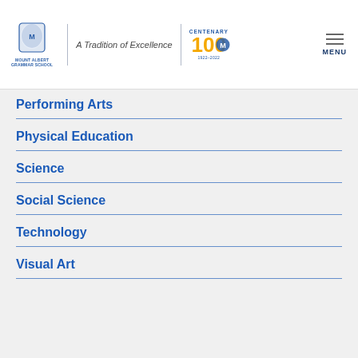Mount Albert Grammar School — A Tradition of Excellence — Centenary 100
Performing Arts
Physical Education
Science
Social Science
Technology
Visual Art